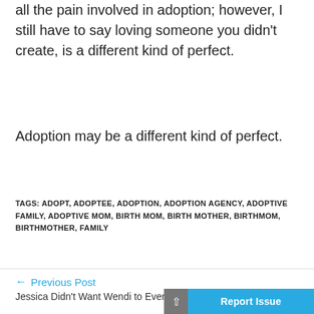all the pain involved in adoption; however, I still have to say loving someone you didn't create, is a different kind of perfect.
Adoption may be a different kind of perfect.
TAGS: ADOPT, ADOPTEE, ADOPTION, ADOPTION AGENCY, ADOPTIVE FAMILY, ADOPTIVE MOM, BIRTH MOM, BIRTH MOTHER, BIRTHMOM, BIRTHMOTHER, FAMILY
← Previous Post
Jessica Didn't Want Wendi to Ever Regret Her Decision
Next Post →
Choosing A...ily
Report Issue